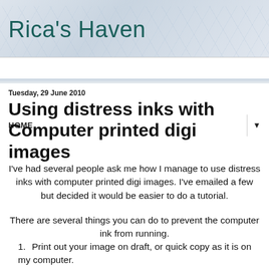Rica's Haven
HOME
Tuesday, 29 June 2010
Using distress inks with Computer printed digi images
I've had several people ask me how I manage to use distress inks with computer printed digi images. I've emailed a few but decided it would be easier to do a tutorial.
There are several things you can do to prevent the computer ink from running.
Print out your image on draft, or quick copy as it is on my computer.